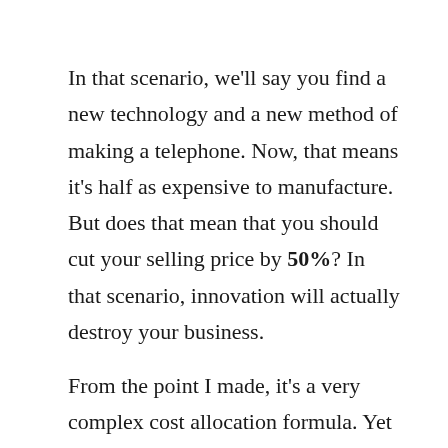In that scenario, we'll say you find a new technology and a new method of making a telephone. Now, that means it's half as expensive to manufacture. But does that mean that you should cut your selling price by 50%? In that scenario, innovation will actually destroy your business.
From the point I made, it's a very complex cost allocation formula. Yet the